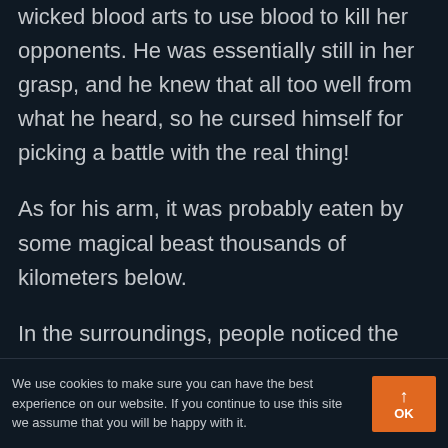wicked blood arts to use blood to kill her opponents. He was essentially still in her grasp, and he knew that all too well from what he heard, so he cursed himself for picking a battle with the real thing!
As for his arm, it was probably eaten by some magical beast thousands of kilometers below.
In the surroundings, people noticed the commotion and came to witness it at a
We use cookies to make sure you can have the best experience on our website. If you continue to use this site we assume that you will be happy with it. OK